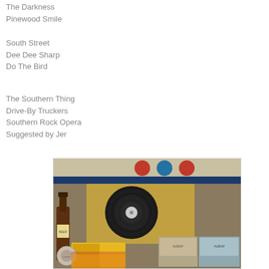The Darkness
Pinewood Smile
South Street
Dee Dee Sharp
Do The Bird
The Southern Thing
Drive-By Truckers
Southern Rock Opera
Suggested by Jer
[Figure (photo): Photo of a record player with a vinyl record on it, a beer bottle nearby, album covers visible in the bottom right, and colored dots (red, blue, red) visible on a light-colored surface at the top. The scene appears to be a casual music listening setup.]